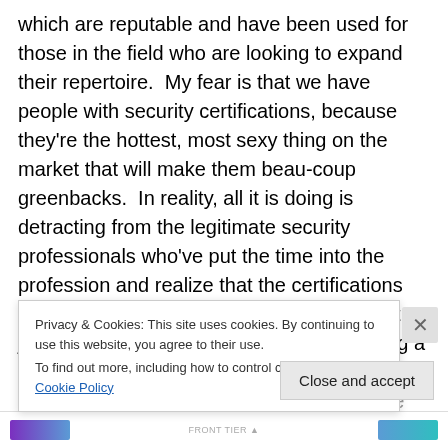which are reputable and have been used for those in the field who are looking to expand their repertoire.  My fear is that we have people with security certifications, because they're the hottest, most sexy thing on the market that will make them beau-coup greenbacks.  In reality, all it is doing is detracting from the legitimate security professionals who've put the time into the profession and realize that the certifications are just another step in their career and not just a payday.  It's also potentially promoting a false sense of comfort that the individual a company is hiring is fully competent.  To me this is the most disturbing part is we've
Privacy & Cookies: This site uses cookies. By continuing to use this website, you agree to their use.
To find out more, including how to control cookies, see here: Cookie Policy
Close and accept